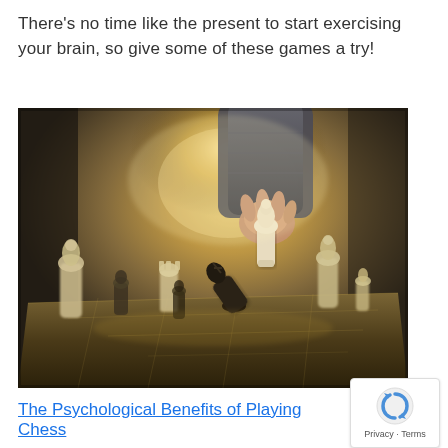There's no time like the present to start exercising your brain, so give some of these games a try!
[Figure (photo): A hand holding a white chess piece over a chessboard with multiple chess pieces in a dramatic golden backlit scene.]
The Psychological Benefits of Playing Chess